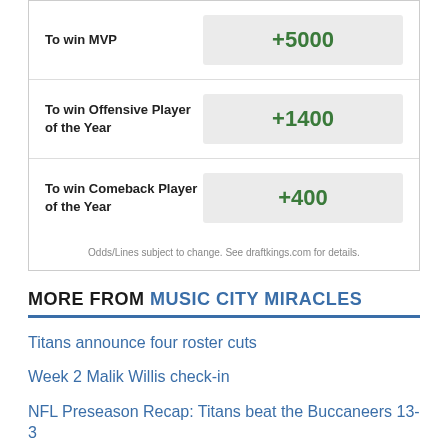| Bet | Odds |
| --- | --- |
| To win MVP | +5000 |
| To win Offensive Player of the Year | +1400 |
| To win Comeback Player of the Year | +400 |
Odds/Lines subject to change. See draftkings.com for details.
MORE FROM MUSIC CITY MIRACLES
Titans announce four roster cuts
Week 2 Malik Willis check-in
NFL Preseason Recap: Titans beat the Buccaneers 13-3
Titans vs. Buccaneers open game thread
3 Roster-Bubble Titans who need to show up versus